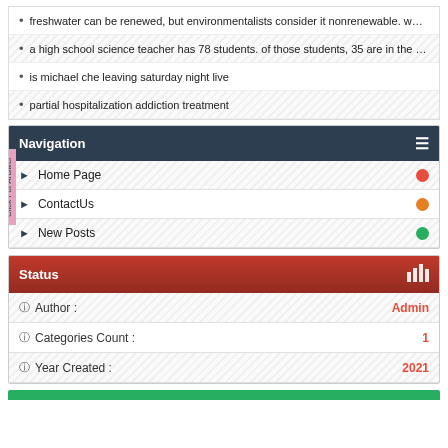freshwater can be renewed, but environmentalists consider it nonrenewable. w…
a high school science teacher has 78 students. of those students, 35 are in the …
is michael che leaving saturday night live
partial hospitalization addiction treatment
Navigation
Home Page
ContactUs
New Posts
Status
Author : Admin
Categories Count : 1
Year Created : 2021